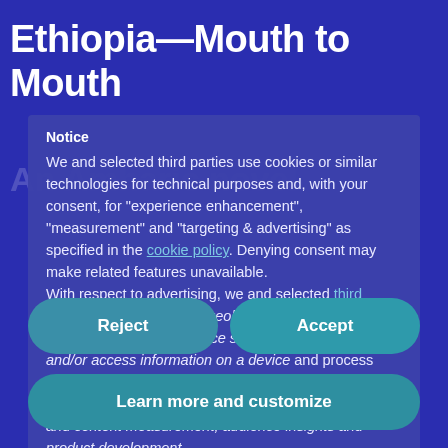Ethiopia—Mouth to Mouth
Notice
We and selected third parties use cookies or similar technologies for technical purposes and, with your consent, for "experience enhancement", "measurement" and "targeting & advertising" as specified in the cookie policy. Denying consent may make related features unavailable.
With respect to advertising, we and selected third parties, may use precise geolocation data, and identification through device scanning in order to store and/or access information on a device and process personal data like your usage data for the following advertising purposes: personalized ads and content, ad and content measurement, audience insights and product development.
You can freely give, deny, or withdraw your consent at any time
Reject
Accept
Learn more and customize